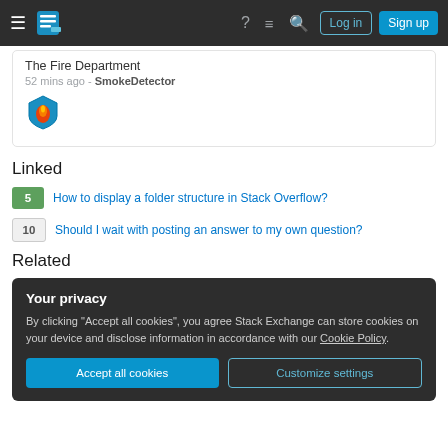Stack Exchange navigation bar with Log in and Sign up buttons
The Fire Department
52 mins ago - SmokeDetector
Linked
5 How to display a folder structure in Stack Overflow?
10 Should I wait with posting an answer to my own question?
Related
Your privacy
By clicking "Accept all cookies", you agree Stack Exchange can store cookies on your device and disclose information in accordance with our Cookie Policy.
Accept all cookies  Customize settings